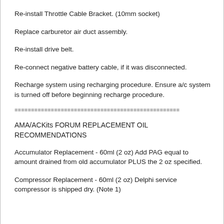Re-install Throttle Cable Bracket. (10mm socket)
Replace carburetor air duct assembly.
Re-install drive belt.
Re-connect negative battery cable, if it was disconnected.
Recharge system using recharging procedure. Ensure a/c system is turned off before beginning recharge procedure.
================================================
AMA/ACKits FORUM REPLACEMENT OIL RECOMMENDATIONS
Accumulator Replacement - 60ml (2 oz) Add PAG equal to amount drained from old accumulator PLUS the 2 oz specified.
Compressor Replacement - 60ml (2 oz) Delphi service compressor is shipped dry. (Note 1)